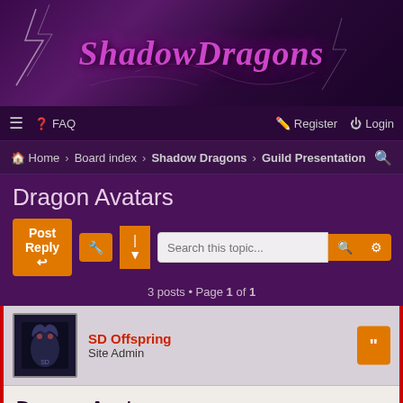[Figure (illustration): Shadow Dragons forum banner with purple gradient background, lightning bolts, and stylized cursive logo text 'ShadowDragons' in purple/magenta color]
≡  ? FAQ    Register  Login
Home › Board index › Shadow Dragons › Guild Presentation  🔍
Dragon Avatars
Post Reply  🔧 |▼  Search this topic...  🔍  ⚙
3 posts • Page 1 of 1
SD Offspring
Site Admin
Dragon Avatars
Post: # 1061
09 Jul 2018, 14:19
Guys,
As many of you noticed, Im trying to make an avatar for each of our